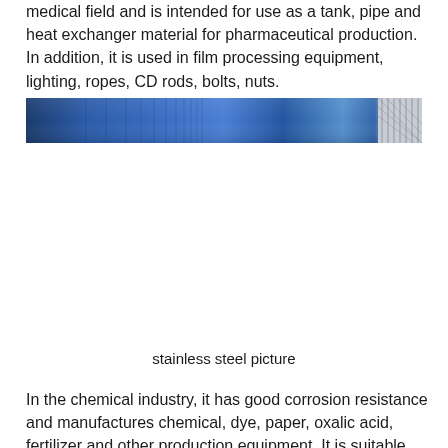medical field and is intended for use as a tank, pipe and heat exchanger material for pharmaceutical production. In addition, it is used in film processing equipment, lighting, ropes, CD rods, bolts, nuts.
[Figure (photo): A horizontal banner image showing stainless steel material — a close-up strip with blue-toned metallic surface on the left and a cross-section of a metal rod or pipe on the right.]
stainless steel picture
In the chemical industry, it has good corrosion resistance and manufactures chemical, dye, paper, oxalic acid, fertilizer and other production equipment. It is suitable for use in the food